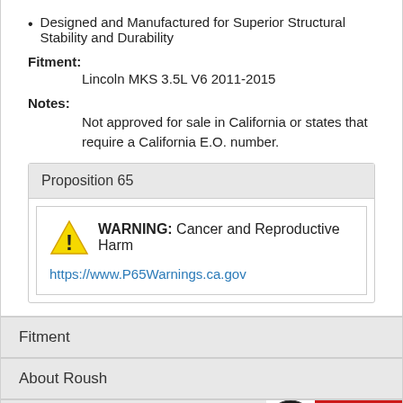Designed and Manufactured for Superior Structural Stability and Durability
Fitment:
Lincoln MKS 3.5L V6 2011-2015
Notes:
Not approved for sale in California or states that require a California E.O. number.
Proposition 65
WARNING: Cancer and Reproductive Harm
https://www.P65Warnings.ca.gov
Fitment
About Roush
Warranty